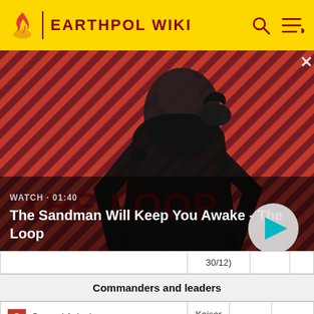EARTHPOL WIKI
[Figure (screenshot): Video thumbnail showing a dark figure with a raven on shoulder against a red diagonal striped background. Text overlay: 'WATCH · 01:40' and title 'The Sandman Will Keep You Awake - The Loop'. Play button visible.]
The Sandman Will Keep You Awake - The Loop
30/12)
Commanders and leaders
General Apigale
Conclusionz
NeeblessBlack
Kaiser grantykied
Generalmai